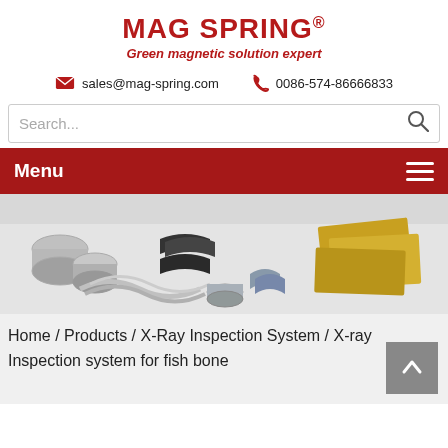MAG SPRING® Green magnetic solution expert
sales@mag-spring.com  0086-574-86666833
Search...
Menu
[Figure (photo): Various magnetic components and parts displayed on a white surface, including cylindrical, arc, and rectangular magnets in silver, black, blue and gold/yellow colors.]
Home / Products / X-Ray Inspection System / X-ray Inspection system for fish bone